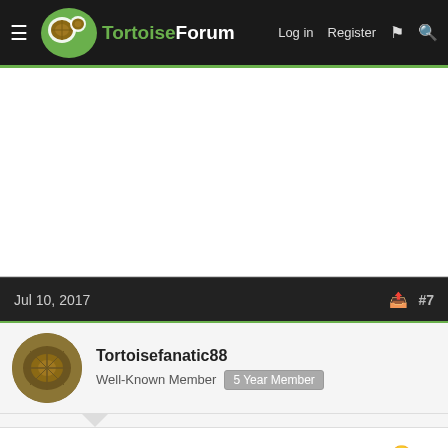TortoiseForum — Log in  Register
[Figure (screenshot): Advertisement area (blank white space)]
Jul 10, 2017  #7
Tortoisefanatic88
Well-Known Member  5 Year Member
Tom or Lance. Can't go wrong with either of them 😉
Jul 10, 2... #8 — Book a Same Day Appointment — Hair Cuttery